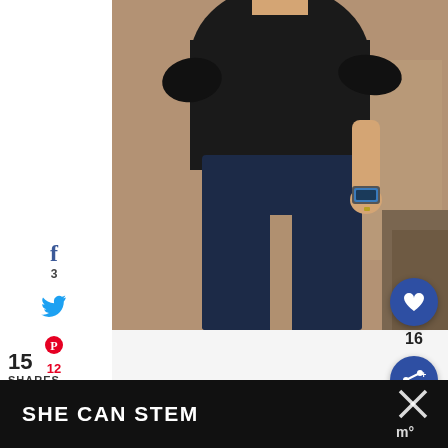[Figure (photo): A person wearing a black t-shirt and dark navy pants/capris, photographed from neck to ankle against a tan/brown wall background. The person is wearing a smartwatch and a ring. This appears to be a before/after or outfit photo.]
f
3
Twitter icon
Pinterest icon
12
Yummly icon
15
SHARES
❤ 16
Share+
SHE CAN STEM